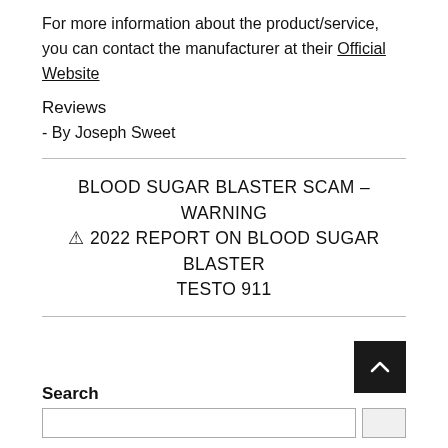For more information about the product/service, you can contact the manufacturer at their Official Website
Reviews
- By Joseph Sweet
BLOOD SUGAR BLASTER SCAM – WARNING ⚠ 2022 REPORT ON BLOOD SUGAR BLASTER TESTO 911
Search